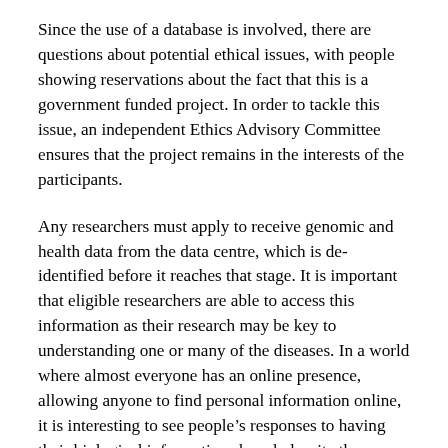Since the use of a database is involved, there are questions about potential ethical issues, with people showing reservations about the fact that this is a government funded project. In order to tackle this issue, an independent Ethics Advisory Committee ensures that the project remains in the interests of the participants.
Any researchers must apply to receive genomic and health data from the data centre, which is de-identified before it reaches that stage. It is important that eligible researchers are able to access this information as their research may be key to understanding one or many of the diseases. In a world where almost everyone has an online presence, allowing anyone to find personal information online, it is interesting to see people's responses to having their biological information shared, despite the difficulty of pinpointing who the biographical information belongs to.